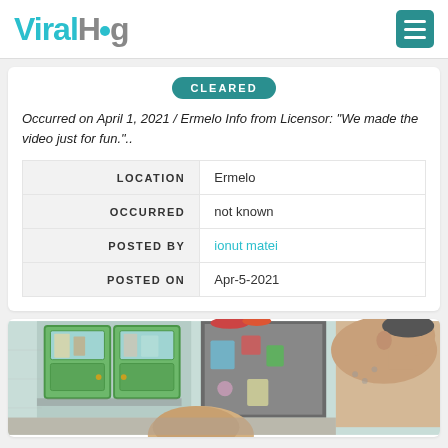ViralHog
CLEARED
Occurred on April 1, 2021 / Ermelo Info from Licensor: "We made the video just for fun."..
|  |  |
| --- | --- |
| LOCATION | Ermelo |
| OCCURRED | not known |
| POSTED BY | ionut matei |
| POSTED ON | Apr-5-2021 |
[Figure (photo): A kitchen scene with green cabinets and a person leaning over, viewed from above.]